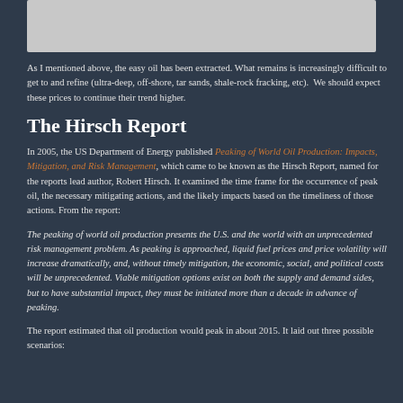[Figure (other): Gray placeholder image at top of page]
As I mentioned above, the easy oil has been extracted. What remains is increasingly difficult to get to and refine (ultra-deep, off-shore, tar sands, shale-rock fracking, etc).  We should expect these prices to continue their trend higher.
The Hirsch Report
In 2005, the US Department of Energy published Peaking of World Oil Production: Impacts, Mitigation, and Risk Management, which came to be known as the Hirsch Report, named for the reports lead author, Robert Hirsch. It examined the time frame for the occurrence of peak oil, the necessary mitigating actions, and the likely impacts based on the timeliness of those actions. From the report:
The peaking of world oil production presents the U.S. and the world with an unprecedented risk management problem. As peaking is approached, liquid fuel prices and price volatility will increase dramatically, and, without timely mitigation, the economic, social, and political costs will be unprecedented. Viable mitigation options exist on both the supply and demand sides, but to have substantial impact, they must be initiated more than a decade in advance of peaking.
The report estimated that oil production would peak in about 2015. It laid out three possible scenarios: